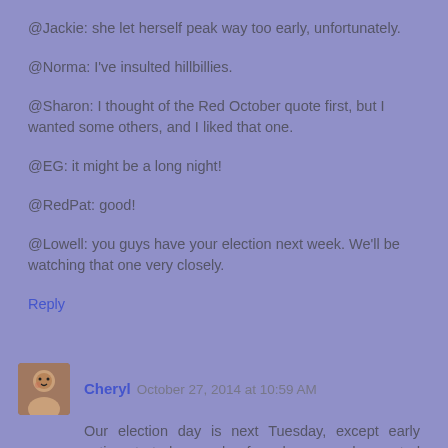@Jackie: she let herself peak way too early, unfortunately.
@Norma: I've insulted hillbillies.
@Sharon: I thought of the Red October quote first, but I wanted some others, and I liked that one.
@EG: it might be a long night!
@RedPat: good!
@Lowell: you guys have your election next week. We'll be watching that one very closely.
Reply
Cheryl October 27, 2014 at 10:59 AM
Our election day is next Tuesday, except early voting started a couple of weeks ago and we voted last week!
And I think I've criticized hillbillies if that...